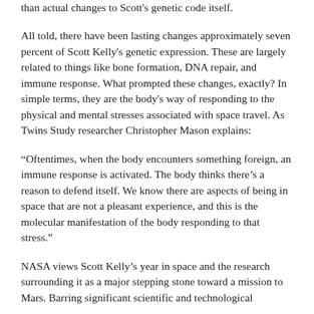than actual changes to Scott's genetic code itself.
All told, there have been lasting changes approximately seven percent of Scott Kelly's genetic expression. These are largely related to things like bone formation, DNA repair, and immune response. What prompted these changes, exactly? In simple terms, they are the body's way of responding to the physical and mental stresses associated with space travel. As Twins Study researcher Christopher Mason explains:
“Oftentimes, when the body encounters something foreign, an immune response is activated. The body thinks there’s a reason to defend itself. We know there are aspects of being in space that are not a pleasant experience, and this is the molecular manifestation of the body responding to that stress.”
NASA views Scott Kelly’s year in space and the research surrounding it as a major stepping stone toward a mission to Mars. Barring significant scientific and technological